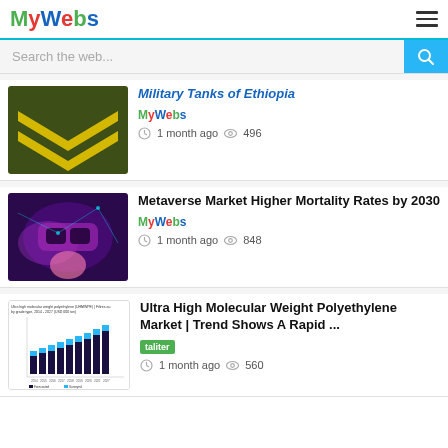MyWebs
Search the web...
Military Tanks of Ethiopia
MyWebs
1 month ago  496
Metaverse Market Higher Mortality Rates by 2030
MyWebs
1 month ago  848
Ultra High Molecular Weight Polyethylene Market | Trend Shows A Rapid ...
1 month ago  560